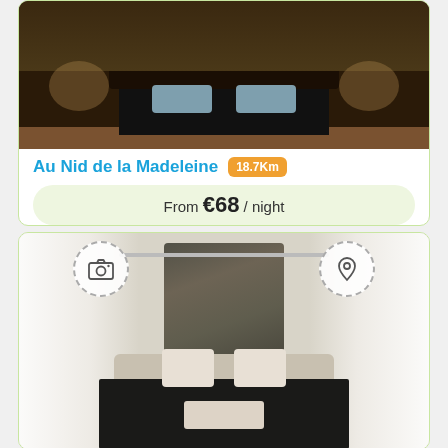[Figure (photo): Hotel room photo showing a bed with dark bedding and wooden floor, top-down angle]
Au Nid de la Madeleine 18.7Km
From €68 / night
Book Now
[Figure (photo): Hotel room photo showing a white bed with pillows, decorative palm leaf artwork above headboard, white curtains]